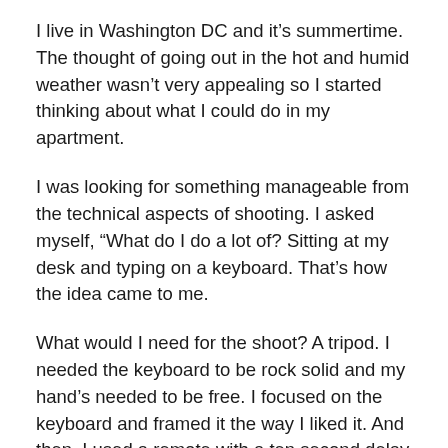I live in Washington DC and it’s summertime. The thought of going out in the hot and humid weather wasn’t very appealing so I started thinking about what I could do in my apartment.
I was looking for something manageable from the technical aspects of shooting. I asked myself, “What do I do a lot of? Sitting at my desk and typing on a keyboard. That’s how the idea came to me.
What would I need for the shoot? A tripod. I needed the keyboard to be rock solid and my hand’s needed to be free. I focused on the keyboard and framed it the way I liked it. And then, I used a remote with a ten second delay to take the picture.
I experimented both with being in front and behind the tripod. I found being behind the tripod and reaching around it worked better. The angle of where the